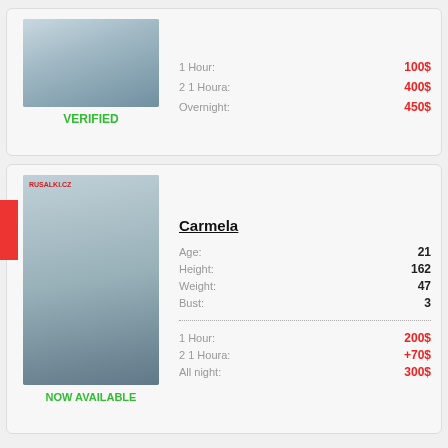[Figure (photo): Photo of a woman in a white top, partially visible, cropped at top]
VERIFIED
1 Hour: 100$
2 1 Houra: 400$
Overnight: 450$
[Figure (photo): Photo of a woman with long hair wearing a floral dress, RUSALKI.CZ watermark]
NOW AVAILABLE
Carmela
Age: 21
Height: 162
Weight: 47
Bust: 3
1 Hour: 200$
2 1 Houra: +70$
All night: 300$